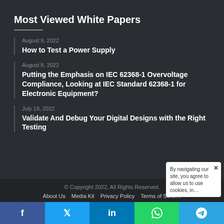Most Viewed White Papers
August 9, 2022
How to Test a Power Supply
August 8, 2022
Putting the Emphasis on IEC 62368-1 Overvoltage Compliance, Looking at IEC Standard 62368-1 for Electronic Equipment?
July 19, 2022
Validate And Debug Your Digital Designs with the Right Testing
© Copyright 2022, All Rights Reserved.
About Us  Media Kit  Privacy Policy  Terms of Servi…